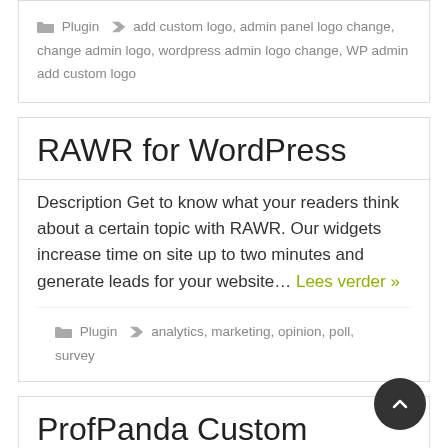Plugin  add custom logo, admin panel logo change, change admin logo, wordpress admin logo change, WP admin add custom logo
RAWR for WordPress
Description Get to know what your readers think about a certain topic with RAWR. Our widgets increase time on site up to two minutes and generate leads for your website… Lees verder »
Plugin  analytics, marketing, opinion, poll, survey
ProfPanda Custom Dashboard Widget